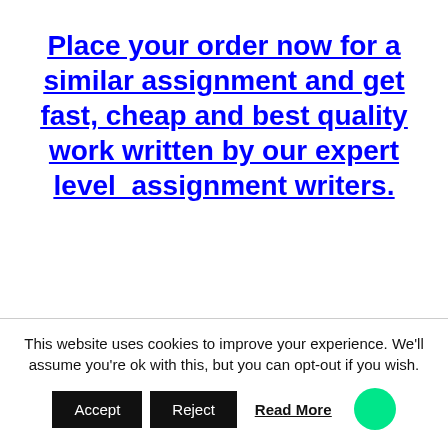Place your order now for a similar assignment and get fast, cheap and best quality work written by our expert level assignment writers.
[Figure (other): A loading spinner / activity indicator icon, circular with radiating lines in dark gray]
This website uses cookies to improve your experience. We'll assume you're ok with this, but you can opt-out if you wish.